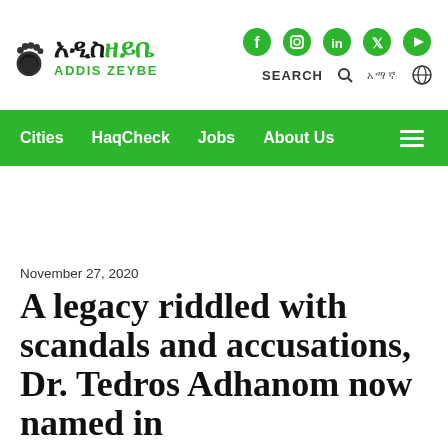Addis Zeybe — newspaper logo header with social icons, search, and navigation
Cities   HaqCheck   Jobs   About Us
November 27, 2020
A legacy riddled with scandals and accusations, Dr. Tedros Adhanom now named in